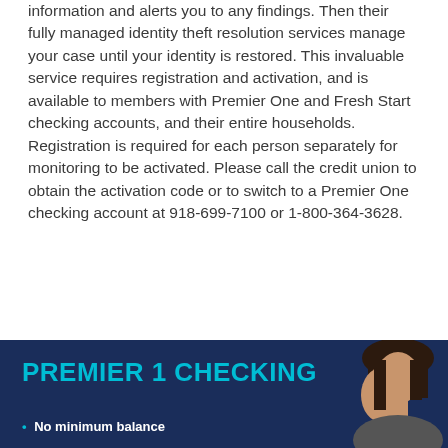information and alerts you to any findings. Then their fully managed identity theft resolution services manage your case until your identity is restored. This invaluable service requires registration and activation, and is available to members with Premier One and Fresh Start checking accounts, and their entire households. Registration is required for each person separately for monitoring to be activated. Please call the credit union to obtain the activation code or to switch to a Premier One checking account at 918-699-7100 or 1-800-364-3628.
[Figure (infographic): Dark navy blue banner with cyan text reading 'PREMIER 1 CHECKING', with a photo of a woman on the right side and bullet point text 'No minimum balance' at the bottom.]